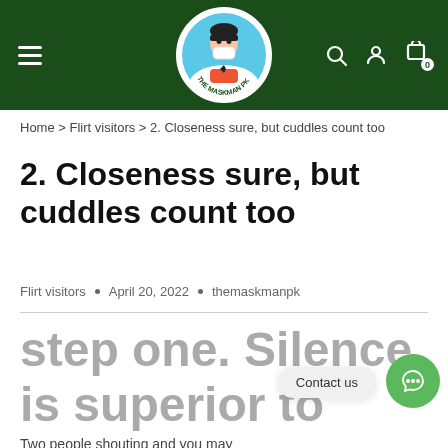[Figure (logo): The Maskman PK logo – circular badge with cartoon character wearing a mask]
Home > Flirt visitors > 2. Closeness sure, but cuddles count too
2. Closeness sure, but cuddles count too
Flirt visitors • April 20, 2022 • themaskmanpk
step one. Silence is superior to argu
Two people shouting and you may quarrelling often leads to
Contact us